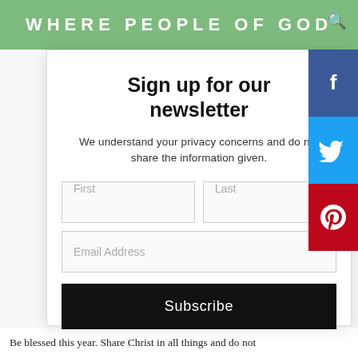WHERE PEOPLE OF GOD
Sign up for our newsletter
We understand your privacy concerns and do not share the information given.
First | Last | Email Address | Subscribe
Be blessed this year. Share Christ in all things and do not